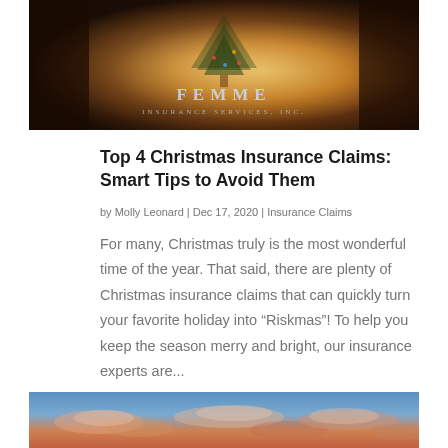[Figure (photo): Christmas scene with children near a decorated tree, with Femme Insurance Services Inc. logo overlay on a warm-toned photograph]
Top 4 Christmas Insurance Claims: Smart Tips to Avoid Them
by Molly Leonard | Dec 17, 2020 | Insurance Claims
For many, Christmas truly is the most wonderful time of the year. That said, there are plenty of Christmas insurance claims that can quickly turn your favorite holiday into “Riskmas”! To help you keep the season merry and bright, our insurance experts are...
[Figure (photo): Scenic sky photograph with clouds illuminated in pink and orange sunset colors against a blue sky]